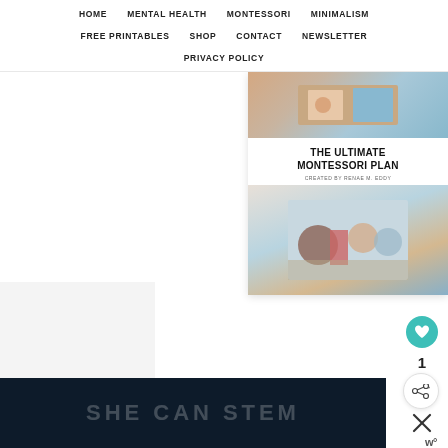HOME | MENTAL HEALTH | MONTESSORI | MINIMALISM | FREE PRINTABLES | SHOP | CONTACT | NEWSLETTER | PRIVACY POLICY
[Figure (screenshot): Right panel showing Montessori planner product with children photos and title 'THE ULTIMATE MONTESSORI PLAN - CREATED BY RENAE M. EDDY']
[Figure (screenshot): Bottom dark banner with text 'SHE CAN STEM' in light letters]